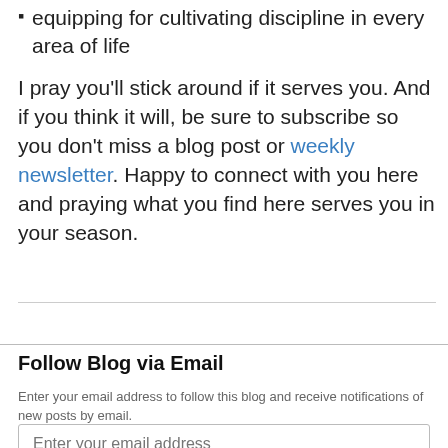equipping for cultivating discipline in every area of life
I pray you'll stick around if it serves you. And if you think it will, be sure to subscribe so you don't miss a blog post or weekly newsletter. Happy to connect with you here and praying what you find here serves you in your season.
Follow Blog via Email
Enter your email address to follow this blog and receive notifications of new posts by email.